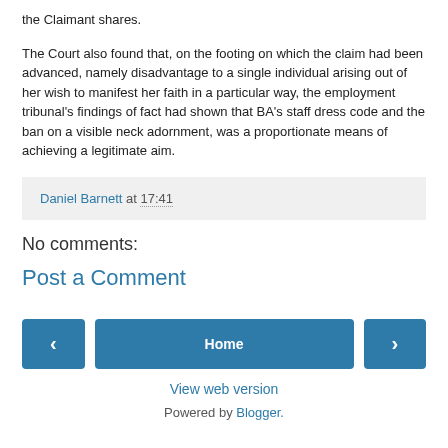the Claimant shares.
The Court also found that, on the footing on which the claim had been advanced, namely disadvantage to a single individual arising out of her wish to manifest her faith in a particular way, the employment tribunal's findings of fact had shown that BA's staff dress code and the ban on a visible neck adornment, was a proportionate means of achieving a legitimate aim.
Daniel Barnett at 17:41
No comments:
Post a Comment
Home
View web version
Powered by Blogger.